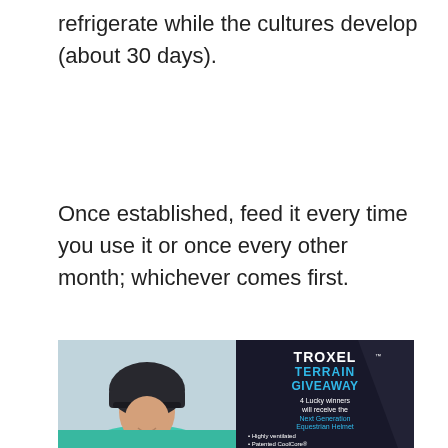refrigerate while the cultures develop (about 30 days).
Once established, feed it every time you use it or once every other month; whichever comes first.
[Figure (photo): Advertisement for Troxel Terrain Giveaway featuring a woman wearing a dark equestrian helmet and teal shirt on the left side, and on the right a black panel with Troxel branding, 'TERRAIN GIVEAWAY' text in cyan, and bullet points listing helmet features including: 4 Lucky winners will receive the Next Generation Equestrian Helmet, Highly ventilated, Patented CoolCore Headliner Technology, FUZE Eco-Friendly Technology.]